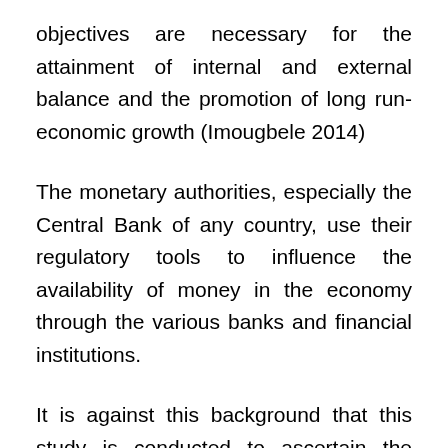objectives are necessary for the attainment of internal and external balance and the promotion of long run-economic growth (Imougbele 2014)
The monetary authorities, especially the Central Bank of any country, use their regulatory tools to influence the availability of money in the economy through the various banks and financial institutions.
It is against this background that this study is conducted to ascertain the veracity of the link